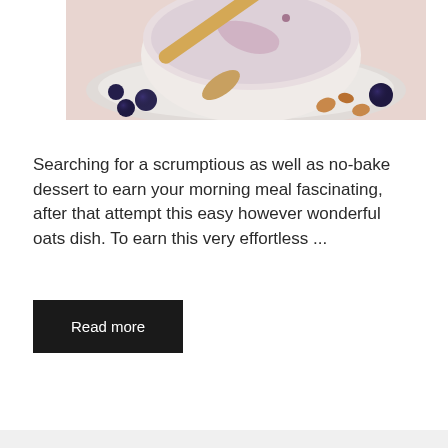[Figure (photo): A bowl of chia seed pudding or oats dessert with blueberries, a wooden spoon, and nuts on a ceramic plate, viewed from above on a light pink surface.]
Searching for a scrumptious as well as no-bake dessert to earn your morning meal fascinating, after that attempt this easy however wonderful oats dish. To earn this very effortless ...
Read more